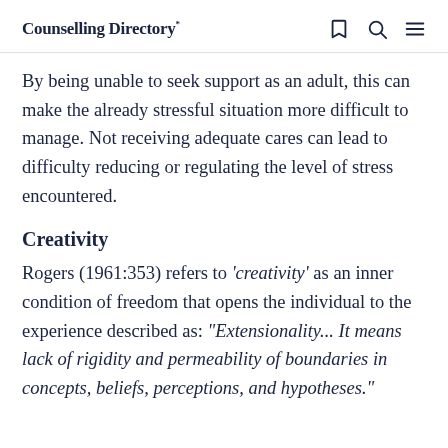Counselling Directory*
By being unable to seek support as an adult, this can make the already stressful situation more difficult to manage. Not receiving adequate cares can lead to difficulty reducing or regulating the level of stress encountered.
Creativity
Rogers (1961:353) refers to 'creativity' as an inner condition of freedom that opens the individual to the experience described as: "Extensionality... It means lack of rigidity and permeability of boundaries in concepts, beliefs, perceptions, and hypotheses."